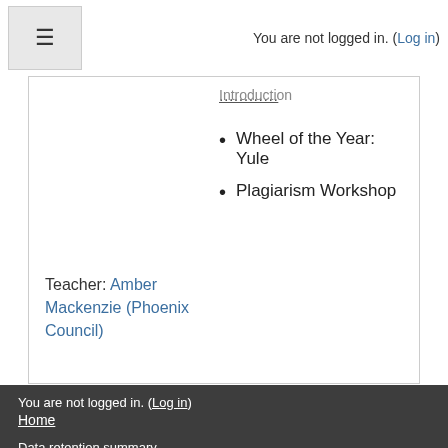You are not logged in. (Log in)
Introduction
Wheel of the Year: Yule
Plagiarism Workshop
Teacher: Amber Mackenzie (Phoenix Council)
You are not logged in. (Log in)
Home
Data retention summary
Get the mobile app
Switch to the standard theme